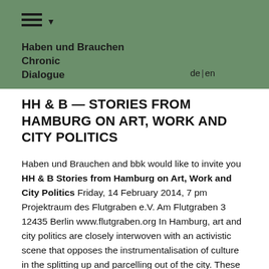Haben und Brauchen
Chronic
Dialogue
HH & B — STORIES FROM HAMBURG ON ART, WORK AND CITY POLITICS
Haben und Brauchen and bbk would like to invite you HH & B Stories from Hamburg on Art, Work and City Politics Friday, 14 February 2014, 7 pm Projektraum des Flutgraben e.V. Am Flutgraben 3 12435 Berlin www.flutgraben.org In Hamburg, art and city politics are closely interwoven with an activistic scene that opposes the instrumentalisation of culture in the splitting up and parcelling out of the city. These protest movements – against the International Bauausstellung (International Architecture Exhibition) and the Internationale Gartenschau